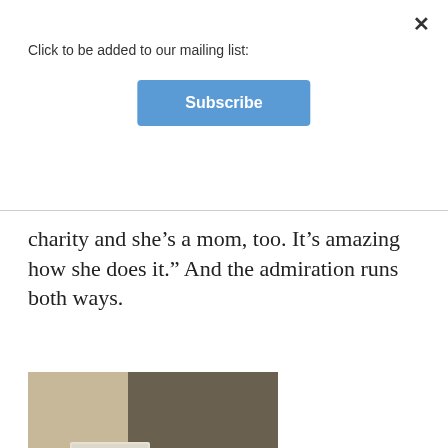Click to be added to our mailing list:
Subscribe
charity and she’s a mom, too. It’s amazing how she does it.” And the admiration runs both ways.
[Figure (photo): A smiling woman with short gray-brown hair and glasses, wearing a black top, standing in what appears to be an indoor setting. A poster or sign is visible in the background to the left.]